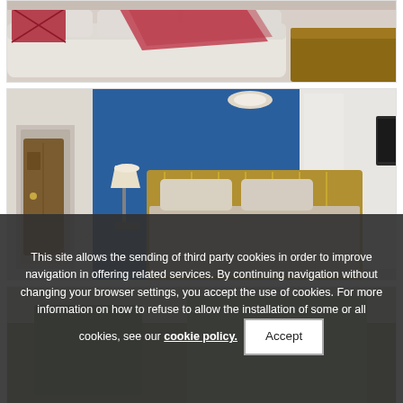[Figure (photo): Partial view of a living room with a white leather sofa, red decorative pillows and blanket, and a wooden coffee table in the background.]
[Figure (photo): Bedroom with a brass bed frame, blue accent wall, white wardrobe, a lamp on a side table, wooden floor, and a TV mounted on the right wall.]
[Figure (photo): Partial view of another room, partially obscured by the cookie consent overlay.]
This site allows the sending of third party cookies in order to improve navigation in offering related services. By continuing navigation without changing your browser settings, you accept the use of cookies. For more information on how to refuse to allow the installation of some or all cookies, see our cookie policy.
Accept